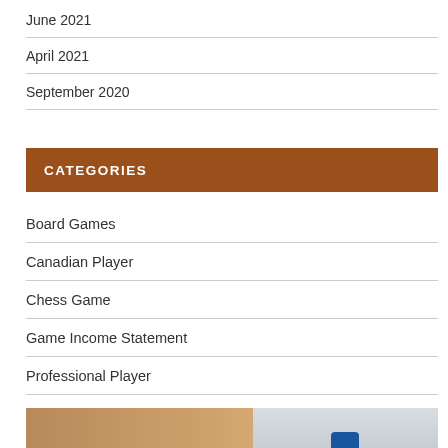June 2021
April 2021
September 2020
CATEGORIES
Board Games
Canadian Player
Chess Game
Game Income Statement
Professional Player
[Figure (photo): Partial photo of a chess scene and a person, visible at the bottom of the page]